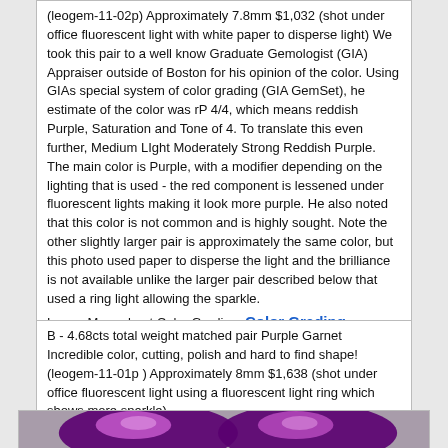(leogem-11-02p) Approximately 7.8mm $1,032 (shot under office fluorescent light with white paper to disperse light) We took this pair to a well know Graduate Gemologist (GIA) Appraiser outside of Boston for his opinion of the color. Using GIAs special system of color grading (GIA GemSet), he estimate of the color was rP 4/4, which means reddish Purple, Saturation and Tone of 4. To translate this even further, Medium LIght Moderately Strong Reddish Purple. The main color is Purple, with a modifier depending on the lighting that is used - the red component is lessened under fluorescent lights making it look more purple. He also noted that this color is not common and is highly sought. Note the other slightly larger pair is approximately the same color, but this photo used paper to disperse the light and the brilliance is not available unlike the larger pair described below that used a ring light allowing the sparkle.
Learm More about Color Grading: Color Grading
B - 4.68cts total weight matched pair Purple Garnet Incredible color, cutting, polish and hard to find shape!
(leogem-11-01p ) Approximately 8mm $1,638 (shot under office fluorescent light using a fluorescent light ring which shows more sparkle)
[Figure (photo): Two oval purple garnet gemstones side by side on a gray background, showing brilliant cut facets with deep purple-pink color]